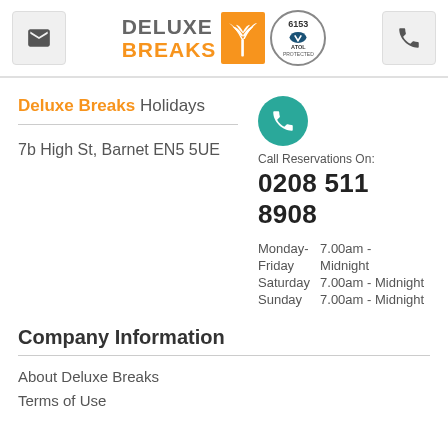[Figure (logo): Deluxe Breaks logo with palm tree icon and ATOL Protected badge, email and phone icons on either side]
Deluxe Breaks Holidays
7b High St, Barnet EN5 5UE
Call Reservations On:
0208 511 8908
Monday- Friday    7.00am - Midnight
Saturday    7.00am - Midnight
Sunday    7.00am - Midnight
Company Information
About Deluxe Breaks
Terms of Use